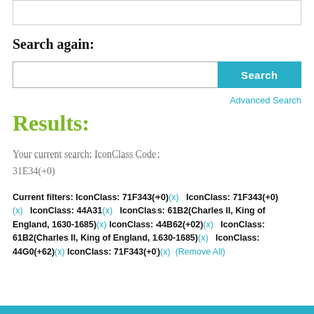Search again:
[Figure (screenshot): Search input box with cyan Search button and Advanced Search link below]
Results:
Your current search: IconClass Code: 31E34(+0)
Current filters: IconClass: 71F343(+0)(x)   IconClass: 71F343(+0)(x)   IconClass: 44A31(x)   IconClass: 61B2(Charles II, King of England, 1630-1685)(x)   IconClass: 44B62(+02)(x)   IconClass: 61B2(Charles II, King of England, 1630-1685)(x)   IconClass: 44G0(+62)(x)   IconClass: 71F343(+0)(x)   (Remove All)